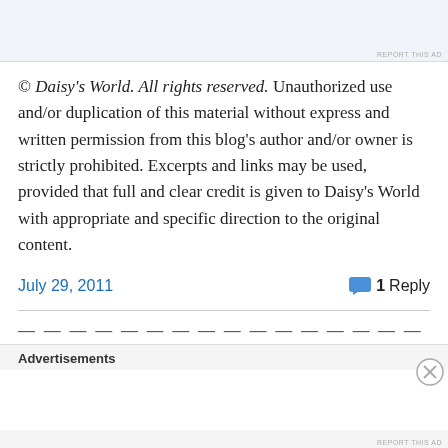[Figure (other): Advertisement banner placeholder at top of page]
© Daisy's World. All rights reserved. Unauthorized use and/or duplication of this material without express and written permission from this blog's author and/or owner is strictly prohibited. Excerpts and links may be used, provided that full and clear credit is given to Daisy's World with appropriate and specific direction to the original content.
July 29, 2011
1 Reply
Advertisements